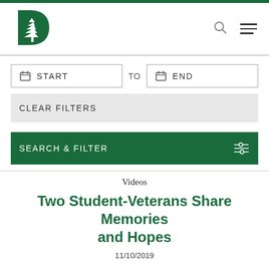[Figure (logo): Dartmouth College green pine tree D logo]
START TO END (date filter inputs)
CLEAR FILTERS
SEARCH & FILTER
Videos
Two Student-Veterans Share Memories and Hopes
11/10/2019